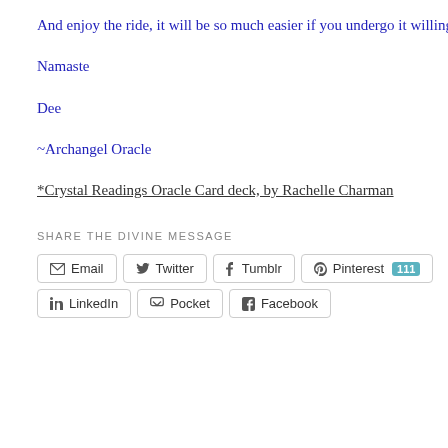And enjoy the ride, it will be so much easier if you undergo it willingly!
Namaste
Dee
~Archangel Oracle
*Crystal Readings Oracle Card deck, by Rachelle Charman
SHARE THE DIVINE MESSAGE
Email  Twitter  Tumblr  Pinterest 111  LinkedIn  Pocket  Facebook